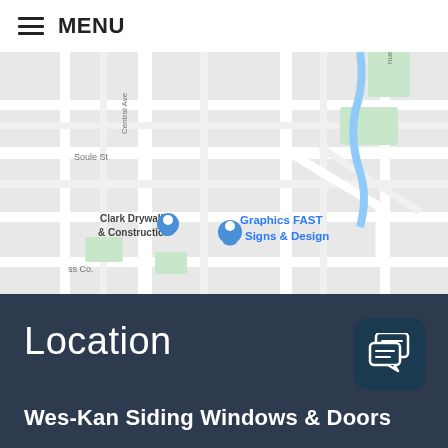MENU
[Figure (map): Street map showing Clark Drywall & Construction, Graphics FAST Signs & Design, Soule St, Central Ave, and other local streets and landmarks]
Location
Wes-Kan Siding Windows & Doors